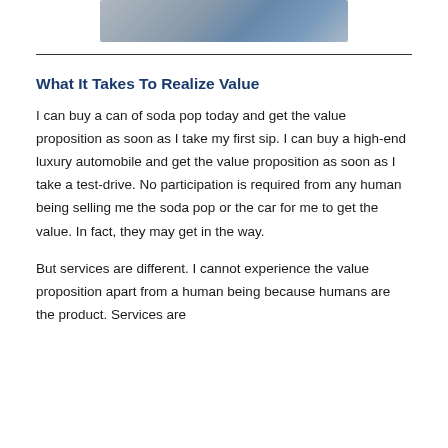[Figure (photo): Partial view of a person in jeans and a white cylindrical object, possibly industrial equipment or vehicle]
What It Takes To Realize Value
I can buy a can of soda pop today and get the value proposition as soon as I take my first sip. I can buy a high-end luxury automobile and get the value proposition as soon as I take a test-drive. No participation is required from any human being selling me the soda pop or the car for me to get the value. In fact, they may get in the way.
But services are different. I cannot experience the value proposition apart from a human being because humans are the product. Services are